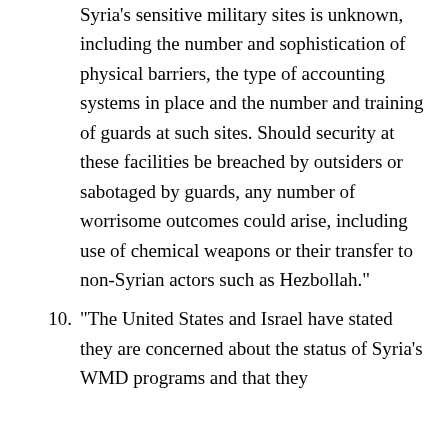Syria’s sensitive military sites is unknown, including the number and sophistication of physical barriers, the type of accounting systems in place and the number and training of guards at such sites. Should security at these facilities be breached by outsiders or sabotaged by guards, any number of worrisome outcomes could arise, including use of chemical weapons or their transfer to non-Syrian actors such as Hezbollah.”
10. “The United States and Israel have stated they are concerned about the status of Syria’s WMD programs and that they